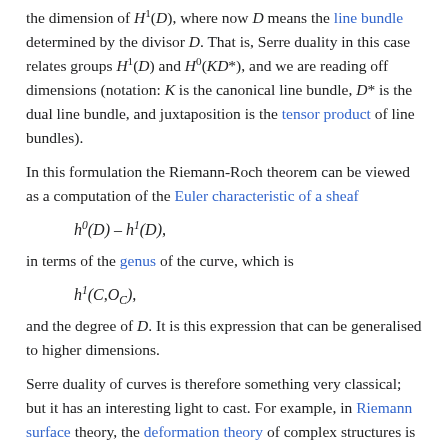the dimension of H¹(D), where now D means the line bundle determined by the divisor D. That is, Serre duality in this case relates groups H¹(D) and H⁰(KD*), and we are reading off dimensions (notation: K is the canonical line bundle, D* is the dual line bundle, and juxtaposition is the tensor product of line bundles).
In this formulation the Riemann-Roch theorem can be viewed as a computation of the Euler characteristic of a sheaf
in terms of the genus of the curve, which is
and the degree of D. It is this expression that can be generalised to higher dimensions.
Serre duality of curves is therefore something very classical; but it has an interesting light to cast. For example, in Riemann surface theory, the deformation theory of complex structures is studied classically by means of quadratic differentials (namely sections of L(K²)). The deformation theory of Kunihiko Kodaira and D. C. Spencer identifies deformations via H¹(T), where T is the tangent bundle of M. The leading element here are...